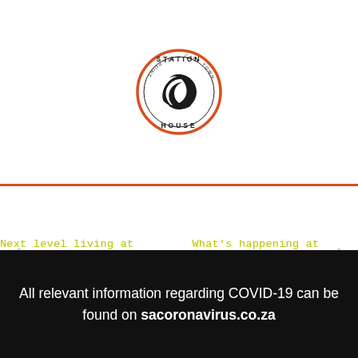[Figure (logo): Station House Cape Town circular logo with red outer ring, black swirl icon in center, text 'STATION' at top, 'HOUSE' at bottom, 'CAPE TOWN' around the ring]
Next level living at Statio...  What's happening at Stati...
All relevant information regarding COVID-19 can be found on sacoronavirus.co.za